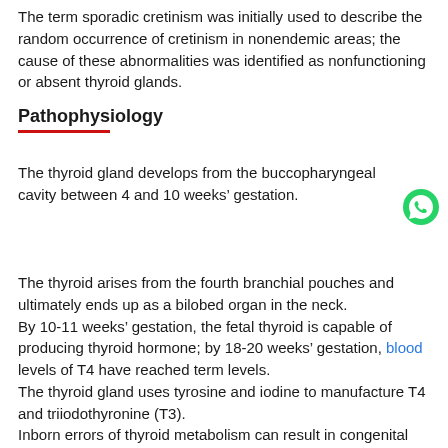The term sporadic cretinism was initially used to describe the random occurrence of cretinism in nonendemic areas; the cause of these abnormalities was identified as nonfunctioning or absent thyroid glands.
Pathophysiology
The thyroid gland develops from the buccopharyngeal cavity between 4 and 10 weeks’ gestation.
The thyroid arises from the fourth branchial pouches and ultimately ends up as a bilobed organ in the neck.
By 10-11 weeks’ gestation, the fetal thyroid is capable of producing thyroid hormone; by 18-20 weeks’ gestation, blood levels of T4 have reached term levels.
The thyroid gland uses tyrosine and iodine to manufacture T4 and triiodothyronine (T3).
Inborn errors of thyroid metabolism can result in congenital hypothyroidism in children with anatomically normal